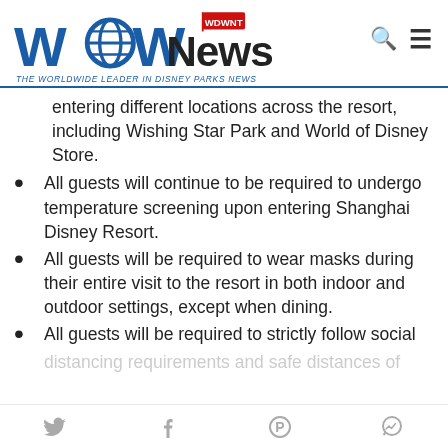WDW News Today — THE WORLDWIDE LEADER IN DISNEY PARKS NEWS
entering different locations across the resort, including Wishing Star Park and World of Disney Store.
All guests will continue to be required to undergo temperature screening upon entering Shanghai Disney Resort.
All guests will be required to wear masks during their entire visit to the resort in both indoor and outdoor settings, except when dining.
All guests will be required to strictly follow social
Social media share icons: Twitter, Facebook, Pinterest, Messenger